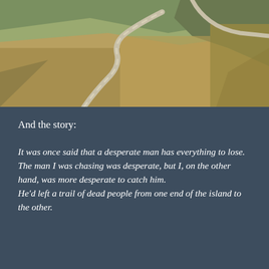[Figure (photo): Aerial view of a winding road cutting through brown and green hillside landscape]
And the story:
It was once said that a desperate man has everything to lose.
The man I was chasing was desperate, but I, on the other hand, was more desperate to catch him.
He'd left a trail of dead people from one end of the island to the other.